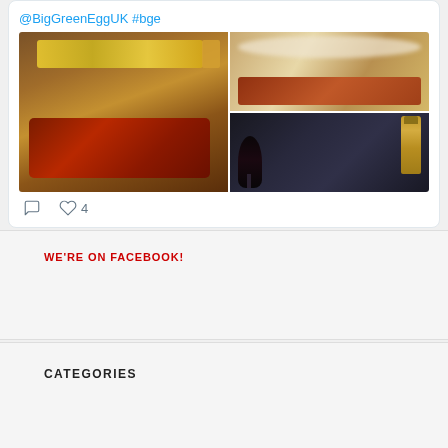@BigGreenEggUK #bge
[Figure (photo): Twitter post photo grid showing grilled food: left - a plate with BBQ ribs, corn and fries; top right - smoked/steamed meat; bottom right - wine glass and wine bottle (Chateau label)]
♡  ♡ 4
WE'RE ON FACEBOOK!
CATEGORIES